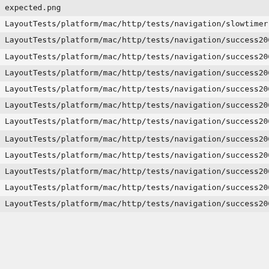expected.png
LayoutTests/platform/mac/http/tests/navigation/slowtimerredirect-expected.txt
LayoutTests/platform/mac/http/tests/navigation/success200-ba expected.checksum
LayoutTests/platform/mac/http/tests/navigation/success200-ba expected.png
LayoutTests/platform/mac/http/tests/navigation/success200-ba expected.txt
LayoutTests/platform/mac/http/tests/navigation/success200-fr expected.checksum
LayoutTests/platform/mac/http/tests/navigation/success200-fr expected.png
LayoutTests/platform/mac/http/tests/navigation/success200-fr expected.txt
LayoutTests/platform/mac/http/tests/navigation/success200-fr loadsame-expected.checksum
LayoutTests/platform/mac/http/tests/navigation/success200-fr loadsame-expected.png
LayoutTests/platform/mac/http/tests/navigation/success200-fr loadsame-expected.txt
LayoutTests/platform/mac/http/tests/navigation/success200-go expected.checksum
LayoutTests/platform/mac/http/tests/navigation/success200-go expected.png